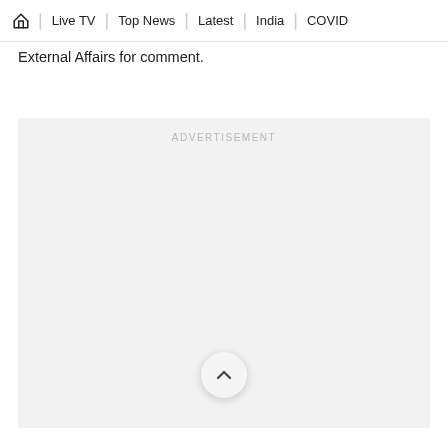🏠 | Live TV | Top News | Latest | India | COVID
External Affairs for comment.
[Figure (other): Advertisement placeholder block with 'ADVERTISEMENT' label centered at top and a scroll-to-top circular button at the bottom center]